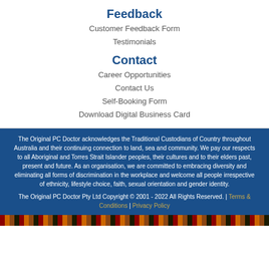Feedback
Customer Feedback Form
Testimonials
Contact
Career Opportunities
Contact Us
Self-Booking Form
Download Digital Business Card
The Original PC Doctor acknowledges the Traditional Custodians of Country throughout Australia and their continuing connection to land, sea and community. We pay our respects to all Aboriginal and Torres Strait Islander peoples, their cultures and to their elders past, present and future. As an organisation, we are committed to embracing diversity and eliminating all forms of discrimination in the workplace and welcome all people irrespective of ethnicity, lifestyle choice, faith, sexual orientation and gender identity.
The Original PC Doctor Pty Ltd Copyright © 2001 - 2022 All Rights Reserved. | Terms & Conditions | Privacy Policy